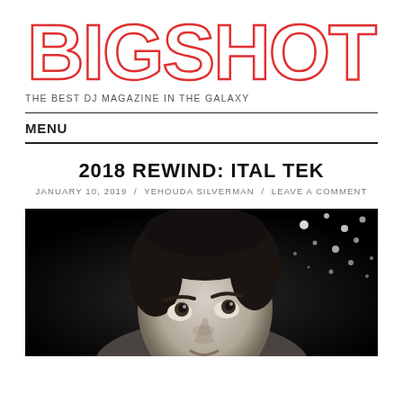[Figure (logo): BigShot magazine logo in outlined red retro block letters]
THE BEST DJ MAGAZINE IN THE GALAXY
MENU
2018 REWIND: ITAL TEK
JANUARY 10, 2019 / YEHOUDA SILVERMAN / LEAVE A COMMENT
[Figure (photo): Black and white photo of a man looking upward, close-up portrait with bokeh sparkle background]